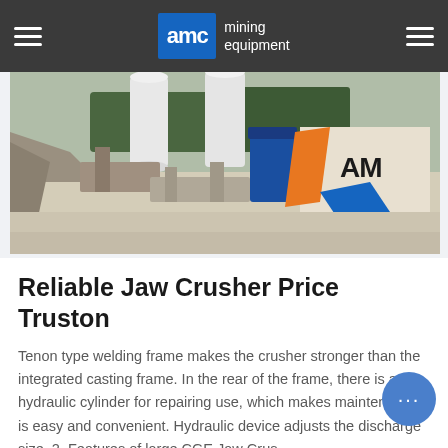AMC mining equipment
[Figure (photo): Outdoor mining equipment site showing silos, conveyor systems, and industrial machinery with blue tank and AMC branding visible]
Reliable Jaw Crusher Price Truston
Tenon type welding frame makes the crusher stronger than the integrated casting frame. In the rear of the frame, there is a hydraulic cylinder for repairing use, which makes maintenance is easy and convenient. Hydraulic device adjusts the discharge size. 2. Features of large CGE Jaw Crus… …